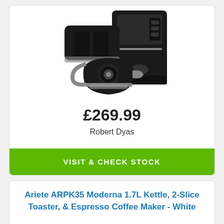[Figure (photo): Black kitchen appliance set including kettle, toaster, and espresso coffee maker]
£269.99
Robert Dyas
VISIT & CHECK STOCK
Ariete ARPK35 Moderna 1.7L Kettle, 2-Slice Toaster, & Espresso Coffee Maker - White
[Figure (photo): White kitchen appliance set partially visible at bottom of page]